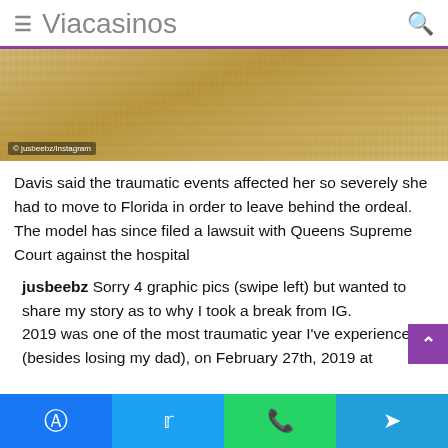≡ Viacasinos 🔍
[Figure (photo): Sandy beach or desert ground with a shoe/sneaker visible and a yellow cord, partially cropped. Watermark reads '© jusbeebz/Instagram' at bottom left.]
Davis said the traumatic events affected her so severely she had to move to Florida in order to leave behind the ordeal. The model has since filed a lawsuit with Queens Supreme Court against the hospital
jusbeebz Sorry 4 graphic pics (swipe left) but wanted to share my story as to why I took a break from IG.
2019 was one of the most traumatic year I've experienced (besides losing my dad), on February 27th, 2019 at
Facebook | Twitter | WhatsApp | Telegram